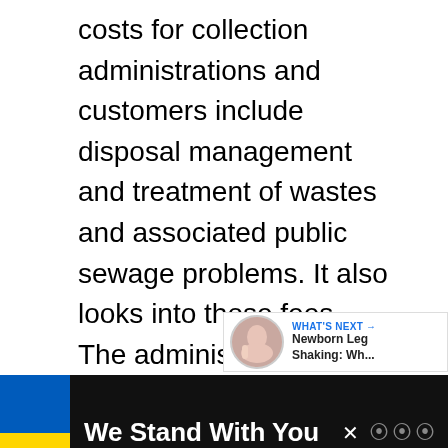costs for collection administrations and customers include disposal management and treatment of wastes and associated public sewage problems. It also looks into those fees. The administration. So. Consumer.
[Figure (screenshot): UI overlay showing a like button (heart icon in blue circle), count of 1, share button, a 'WHAT'S NEXT' card with thumbnail image and text 'Newborn Leg Shaking: Wh...', and a bottom advertisement bar with Ukrainian flag colors and text 'We Stand With You']